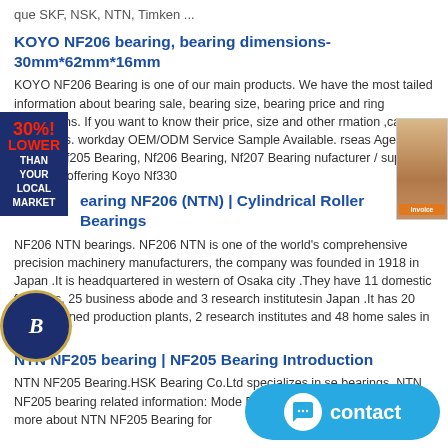que SKF, NSK, NTN, Timken ...
KOYO NF206 bearing, bearing dimensions-30mm*62mm*16mm
KOYO NF206 Bearing is one of our main products. We have the most detailed information about bearing sale, bearing size, bearing price and bearing dimensions. If you want to know their price, size and other information ,can contact us. workday OEM/ODM Service Sample Available. Overseas Agent / Branch Nf205 Bearing, Nf206 Bearing, Nf207 Bearing manufacturer / supplier in China, offering Koyo Nf330
Bearing NF206 (NTN) | Cylindrical Roller Bearings
NF206 NTN bearings. NF206 NTN is one of the world's comprehensive precision machinery manufacturers, the company was founded in 1918 in Japan .It is headquartered in western of Osaka city .They have 11 domestic factories, 25 business abode and 3 research institutesin Japan .It has 20 wholly-owned production plants, 2 research institutes and 48 home sales in overseas.
NTN NF205 bearing | NF205 Bearing Introduction
NTN NF205 Bearing.HSK Bearing Co.Ltd specializes in selling NTN bearings, NTN NF205 bearing related information: Model: NF205 Brand: NTN, if you want to know more about NTN NF205 Bearing for